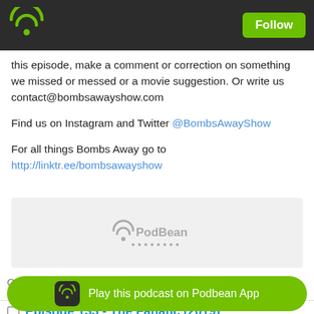Follow
this episode, make a comment or correction on something we missed or messed or a movie suggestion. Or write us contact@bombsawayshow.com
Find us on Instagram and Twitter @BombsAwayShow
For all things Bombs Away go to http://linktr.ee/bombsawayshow
[Figure (screenshot): PodBean podcast player embed widget with grey background]
Likes  Share  Download
Episode 133 - The Fanatic (2019)
February 3, 2020
As we start a new annual segment on the show, FUCK, IT'S FEBRUARY...
Play this podcast on Podbean App